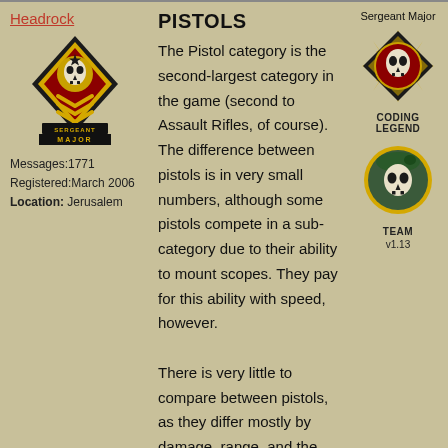Headrock
[Figure (illustration): Sergeant Major military rank badge with skull and gold chevrons]
Messages:1771
Registered:March 2006
Location: Jerusalem
PISTOLS
The Pistol category is the second-largest category in the game (second to Assault Rifles, of course). The difference between pistols is in very small numbers, although some pistols compete in a sub-category due to their ability to mount scopes. They pay for this ability with speed, however.

There is very little to compare between pistols, as they differ mostly by damage, range, and the caliber they can use. But since bullets are equally available for all these calibers,
Sergeant Major
[Figure (illustration): Coding Legend badge - skull with gold sunburst]
CODING LEGEND
[Figure (illustration): Team v1.13 badge - skull with green beret]
TEAM v1.13